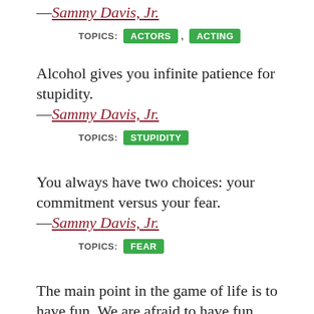—Sammy Davis, Jr.
TOPICS: ACTORS , ACTING
Alcohol gives you infinite patience for stupidity.
—Sammy Davis, Jr.
TOPICS: STUPIDITY
You always have two choices: your commitment versus your fear.
—Sammy Davis, Jr.
TOPICS: FEAR
The main point in the game of life is to have fun. We are afraid to have fun because